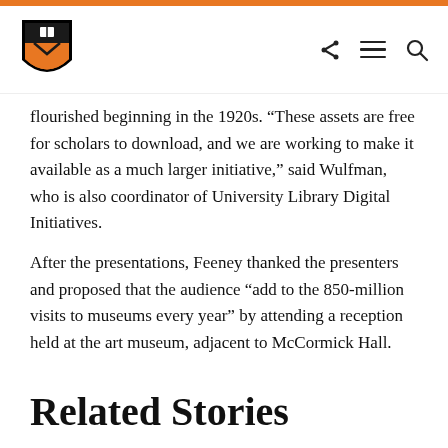Princeton University logo and navigation
flourished beginning in the 1920s. “These assets are free for scholars to download, and we are working to make it available as a much larger initiative,” said Wulfman, who is also coordinator of University Library Digital Initiatives.
After the presentations, Feeney thanked the presenters and proposed that the audience “add to the 850-million visits to museums every year” by attending a reception held at the art museum, adjacent to McCormick Hall.
Related Stories